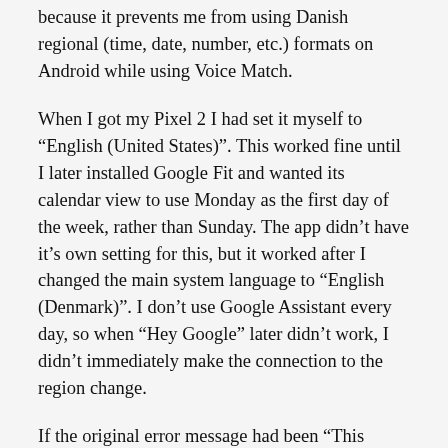because it prevents me from using Danish regional (time, date, number, etc.) formats on Android while using Voice Match.
When I got my Pixel 2 I had set it myself to “English (United States)”. This worked fine until I later installed Google Fit and wanted its calendar view to use Monday as the first day of the week, rather than Sunday. The app didn’t have it’s own setting for this, but it worked after I changed the main system language to “English (Denmark)”. I don’t use Google Assistant every day, so when “Hey Google” later didn’t work, I didn’t immediately make the connection to the region change.
If the original error message had been “This feature is currently unavailable for English (Denmark)”, rather than the generic “this language”, it would have been much easier to fix. Even better, Android should use the Voice